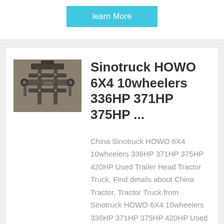learn More
[Figure (photo): Undercarriage view of a Sinotruck HOWO tractor truck showing axles and drivetrain components from below]
Sinotruck HOWO 6X4 10wheelers 336HP 371HP 375HP ...
China Sinotruck HOWO 6X4 10wheelers 336HP 371HP 375HP 420HP Used Trailer Head Tractor Truck, Find details about China Tractor, Tractor Truck from Sinotruck HOWO 6X4 10wheelers 336HP 371HP 375HP 420HP Used Trailer Head Tractor Truck - QINGTE GROUP SPECIAL VEHICLES CO.,